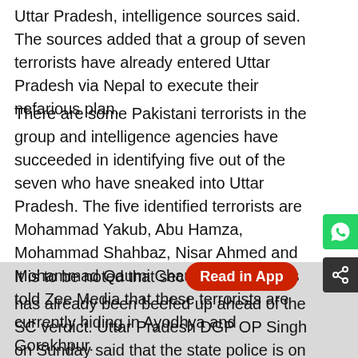Uttar Pradesh, intelligence sources said. The sources added that a group of seven terrorists have already entered Uttar Pradesh via Nepal to execute their nefarious plan.
There are some Pakistani terrorists in the group and intelligence agencies have succeeded in identifying five out of the seven who have sneaked into Uttar Pradesh. The five identified terrorists are Mohammad Yakub, Abu Hamza, Mohammad Shahbaz, Nisar Ahmed and Mohammad Qaumi Chaudhary. Sources told Zee Media that these terrorists are currently hiding in Ayodhya and Gorakhpur.
It is to be noted that security [Read in App] has already been beefed up ahead of the SC verdict. Uttar Pradesh DGP OP Singh on Sunday said that the state police is on high alert and if needed the National Security Act (NSA) will be imposed to maintain law and order in the state.